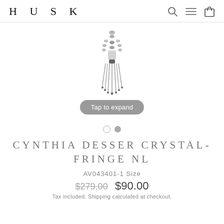HUSK
[Figure (photo): A crystal fringe necklace pendant on white background with a 'Tap to expand' pill button overlay]
CYNTHIA DESSER CRYSTAL-FRINGE NL
AV043401-1 Size
$279.00  $90.00
Tax included. Shipping calculated at checkout.